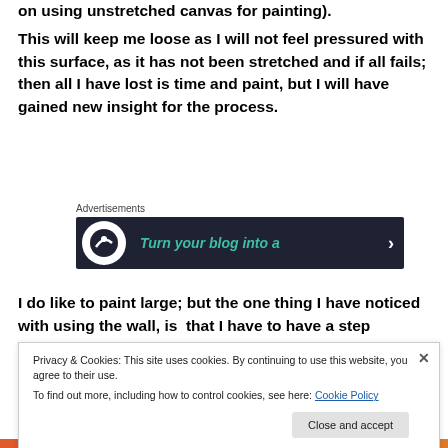on using unstretched canvas for painting).
This will keep me loose as I will not feel pressured with this surface, as it has not been stretched and if all fails; then all I have lost is time and paint, but I will have gained new insight for the process.
[Figure (infographic): Advertisement banner with dark background showing 'Turn your blog into a' text with a circular icon on the left and arrow on the right, labeled 'Advertisements' above]
I do like to paint large; but the one thing I have noticed with using the wall, is  that I have to have a step
Privacy & Cookies: This site uses cookies. By continuing to use this website, you agree to their use.
To find out more, including how to control cookies, see here: Cookie Policy
Close and accept